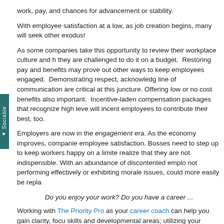work, pay, and chances for advancement or stability.
With employee satisfaction at a low, as job creation begins, many will seek other exodus!
As some companies take this opportunity to review their workplace culture and h they are challenged to do it on a budget. Restoring pay and benefits may prove out other ways to keep employees engaged. Demonstrating respect, acknowledg line of communication are critical at this juncture. Offering low or no cost benefits also important. Incentive-laden compensation packages that recognize high leve will incent employees to contribute their best, too.
Employers are now in the engagement era. As the economy improves, companie employee satisfaction. Bosses need to step up to keep workers happy on a limite realize that they are not indispensible. With an abundance of discontented emplo not performing effectively or exhibiting morale issues, could more easily be repla
Do you enjoy your work? Do you have a career ...
Working with The Priority Pro as your career coach can help you gain clarity, focu skills and developmental areas; utilizing your transferable skills to help land a ne establishing a career direction in 90 days! Contact us to discuss your needs and session. This month it's just $49.95!!